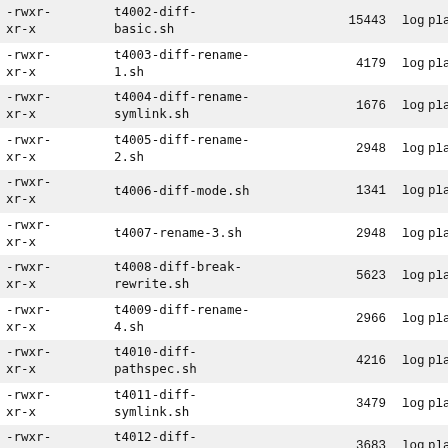| permissions | name | size | col4 | col5 |
| --- | --- | --- | --- | --- |
| -rwxr-xr-x | t4002-diff-basic.sh | 15443 | log | plain |
| -rwxr-xr-x | t4003-diff-rename-1.sh | 4179 | log | plain |
| -rwxr-xr-x | t4004-diff-rename-symlink.sh | 1676 | log | plain |
| -rwxr-xr-x | t4005-diff-rename-2.sh | 2948 | log | plain |
| -rwxr-xr-x | t4006-diff-mode.sh | 1341 | log | plain |
| -rwxr-xr-x | t4007-rename-3.sh | 2948 | log | plain |
| -rwxr-xr-x | t4008-diff-break-rewrite.sh | 5623 | log | plain |
| -rwxr-xr-x | t4009-diff-rename-4.sh | 2966 | log | plain |
| -rwxr-xr-x | t4010-diff-pathspec.sh | 4216 | log | plain |
| -rwxr-xr-x | t4011-diff-symlink.sh | 3479 | log | plain |
| -rwxr-xr-x | t4012-diff-binary.sh | 3683 | log | plain |
| -rwxr-xr-x | t4013-diff-various.sh | 9645 | log | plain |
| d--------- | t4013 | 9545 | log | plain |
| -rwxr-xr-x | t4014-format-patch.sh | 46033 | log | plain |